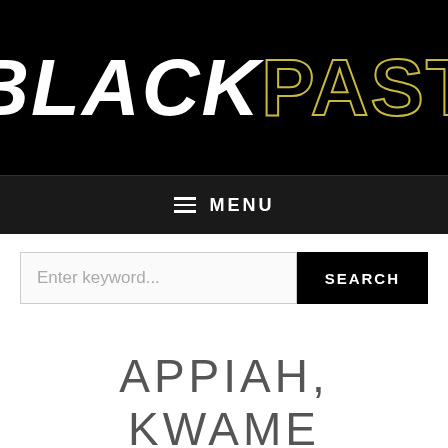[Figure (logo): BlackPast logo: 'BLACK' in bold white italic text and 'PAST' in gold outlined letters on black background]
≡ MENU
Enter keyword...
SEARCH
APPIAH, KWAME ANTHONY
Kwame Anthony Appiah